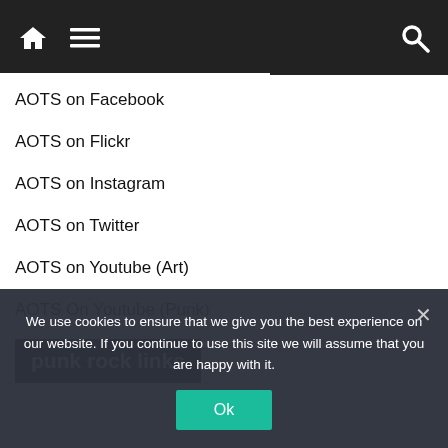Navigation bar with home, menu, and search icons
AOTS on Facebook
AOTS on Flickr
AOTS on Instagram
AOTS on Twitter
AOTS on Youtube (Art)
AOTS On Youtube (Punk)
punk rock links
We use cookies to ensure that we give you the best experience on our website. If you continue to use this site we will assume that you are happy with it.